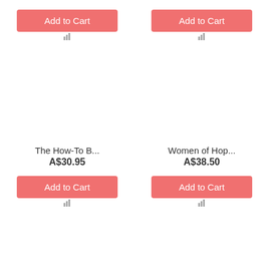[Figure (screenshot): Add to Cart button (top left), pink/salmon colored button with white text]
[Figure (screenshot): Wishlist/bar chart icon below top-left Add to Cart button]
[Figure (screenshot): Add to Cart button (top right), pink/salmon colored button with white text]
[Figure (screenshot): Wishlist/bar chart icon below top-right Add to Cart button]
The How-To B...
A$30.95
[Figure (screenshot): Add to Cart button (bottom left), pink/salmon colored button with white text]
[Figure (screenshot): Wishlist/bar chart icon below bottom-left Add to Cart button]
Women of Hop...
A$38.50
[Figure (screenshot): Add to Cart button (bottom right), pink/salmon colored button with white text]
[Figure (screenshot): Wishlist/bar chart icon below bottom-right Add to Cart button]